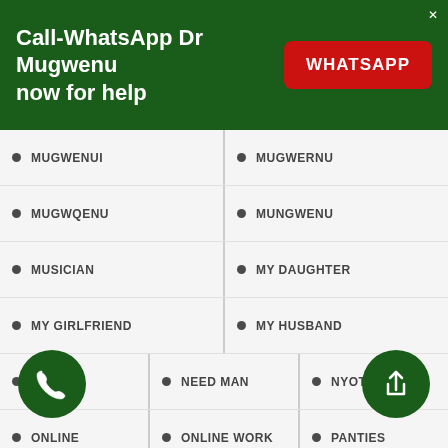[Figure (infographic): Green banner ad: 'Call-WhatsApp Dr Mugwenu now for help' with a red WHATSAPP button]
MUGWENUI
MUGWERNU
MUGWQENU
MUNGWENU
MUSICIAN
MY DAUGHTER
MY GIRLFRIEND
MY HUSBAND
MY WIFE
NEED MAN
NYOTA
ONLINE
ONLINE WORK
PANTIES
PARTNER
POLITICAL SPELL
POLITICAL SPELLS
POLITICIANS